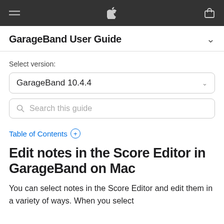GarageBand User Guide
Select version:
GarageBand 10.4.4
Search this guide
Table of Contents +
Edit notes in the Score Editor in GarageBand on Mac
You can select notes in the Score Editor and edit them in a variety of ways. When you select